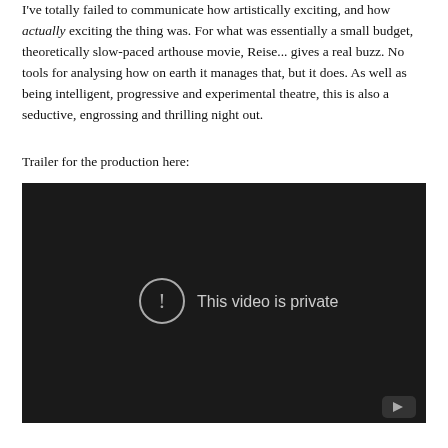I've totally failed to communicate how artistically exciting, and how actually exciting the thing was. For what was essentially a small budget, theoretically slow-paced arthouse movie, Reise... gives a real buzz. No tools for analysing how on earth it manages that, but it does. As well as being intelligent, progressive and experimental theatre, this is also a seductive, engrossing and thrilling night out.
Trailer for the production here:
[Figure (screenshot): Embedded video player with dark/black background showing 'This video is private' message with an exclamation mark icon in a circle and a YouTube play button icon in the bottom right corner.]